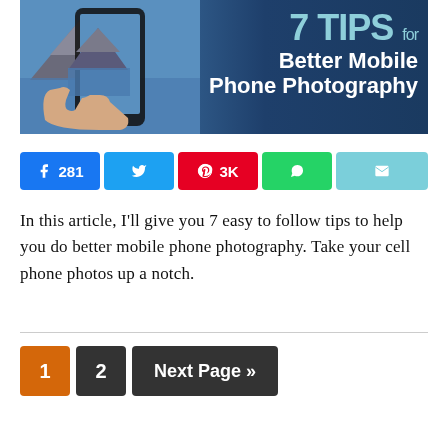[Figure (illustration): Hero banner image showing a hand holding a smartphone photographing a mountain landscape, with text '7 TIPS for Better Mobile Phone Photography' overlaid in light blue and white on a dark blue background.]
281  (Facebook share button)  3K (Pinterest share button)  (Twitter share button)  (WhatsApp share button)  (Email share button)
In this article, I'll give you 7 easy to follow tips to help you do better mobile phone photography. Take your cell phone photos up a notch.
1  2  Next Page »